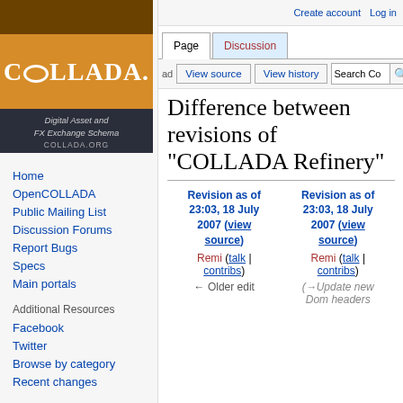[Figure (logo): COLLADA logo with orange and dark brown background, subtitle 'Digital Asset and FX Exchange Schema', URL 'COLLADA.ORG']
Home
OpenCOLLADA
Public Mailing List
Discussion Forums
Report Bugs
Specs
Main portals
Additional Resources
Facebook
Twitter
Browse by category
Recent changes
Create account   Log in
Difference between revisions of "COLLADA Refinery"
| Revision as of 23:03, 18 July 2007 (view source) | Revision as of 23:03, 18 July 2007 (view source) |
| --- | --- |
| Remi (talk | contribs) | Remi (talk | contribs) |
| ← Older edit | (→Update new Dom headers |